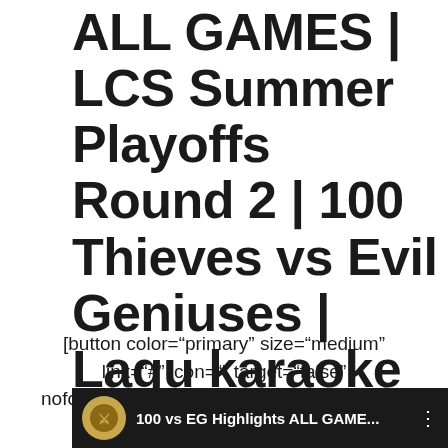ALL GAMES | LCS Summer Playoffs Round 2 | 100 Thieves vs Evil Geniuses | Lagu karaoke di Indonesia.
[button color="primary" size="medium" link="#" icon="" target="false" nofollow="false"]Nyanyikan lagu karaoke ini tepat di bawah [/button]
[Figure (screenshot): Dark footer bar with a circular logo and text '100 vs EG Highlights ALL GAME...' with a menu icon on the right.]